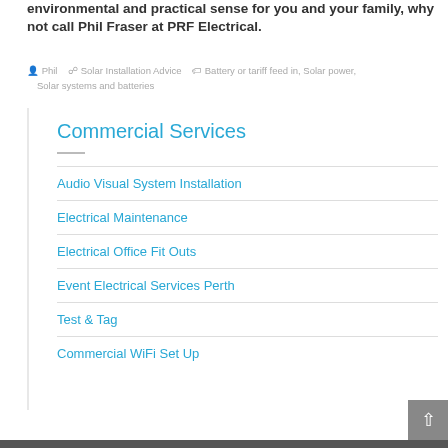environmental and practical sense for you and your family, why not call Phil Fraser at PRF Electrical.
Phil  Solar Installation Advice  Battery or tariff feed in, Solar power, Solar systems and batteries
Commercial Services
Audio Visual System Installation
Electrical Maintenance
Electrical Office Fit Outs
Event Electrical Services Perth
Test & Tag
Commercial WiFi Set Up